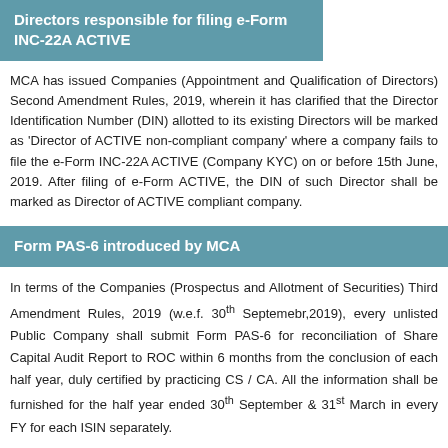Directors responsible for filing e-Form INC-22A ACTIVE
MCA has issued Companies (Appointment and Qualification of Directors) Second Amendment Rules, 2019, wherein it has clarified that the Director Identification Number (DIN) allotted to its existing Directors will be marked as 'Director of ACTIVE non-compliant company' where a company fails to file the e-Form INC-22A ACTIVE (Company KYC) on or before 15th June, 2019. After filing of e-Form ACTIVE, the DIN of such Director shall be marked as Director of ACTIVE compliant company.
Form PAS-6 introduced by MCA
In terms of the Companies (Prospectus and Allotment of Securities) Third Amendment Rules, 2019 (w.e.f. 30th Septemebr,2019), every unlisted Public Company shall submit Form PAS-6 for reconciliation of Share Capital Audit Report to ROC within 6 months from the conclusion of each half year, duly certified by practicing CS / CA. All the information shall be furnished for the half year ended 30th September & 31st March in every FY for each ISIN separately.